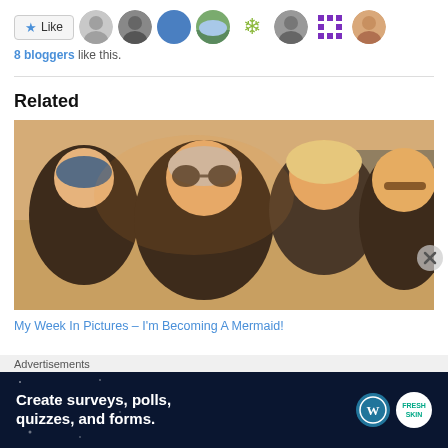[Figure (other): Like button with star icon followed by 8 avatar thumbnails of bloggers]
8 bloggers like this.
Related
[Figure (photo): Photo of four people smiling at the camera wearing wetsuits and swim caps at a beach]
My Week In Pictures – I'm Becoming A Mermaid!
Advertisements
[Figure (other): Advertisement banner: Create surveys, polls, quizzes, and forms. WordPress and SurveyMonkey logos.]